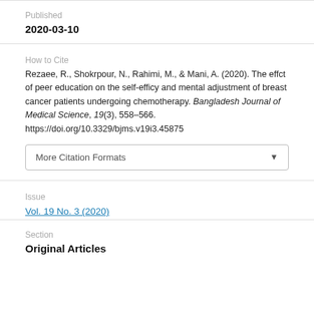Published
2020-03-10
How to Cite
Rezaee, R., Shokrpour, N., Rahimi, M., & Mani, A. (2020). The effct of peer education on the self-efficy and mental adjustment of breast cancer patients undergoing chemotherapy. Bangladesh Journal of Medical Science, 19(3), 558–566. https://doi.org/10.3329/bjms.v19i3.45875
More Citation Formats
Issue
Vol. 19 No. 3 (2020)
Section
Original Articles